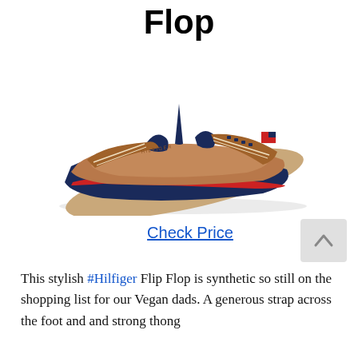Flop
[Figure (photo): Tommy Hilfiger flip flop sandal in tan/brown with navy blue straps and red accent stripe on the sole]
Check Price
This stylish #Hilfiger Flip Flop is synthetic so still on the shopping list for our Vegan dads. A generous strap across the foot and and strong thong